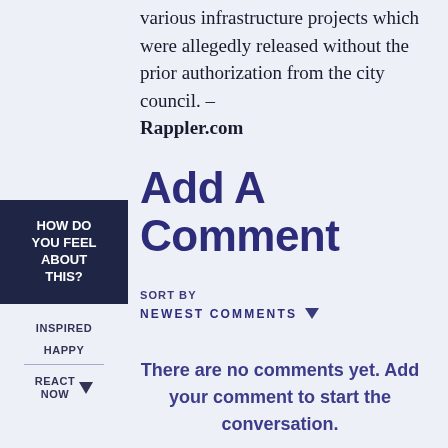various infrastructure projects which were allegedly released without the prior authorization from the city council. – Rappler.com
Add A Comment
HOW DO YOU FEEL ABOUT THIS?
INSPIRED
HAPPY
REACT NOW
SORT BY
NEWEST COMMENTS
There are no comments yet. Add your comment to start the conversation.